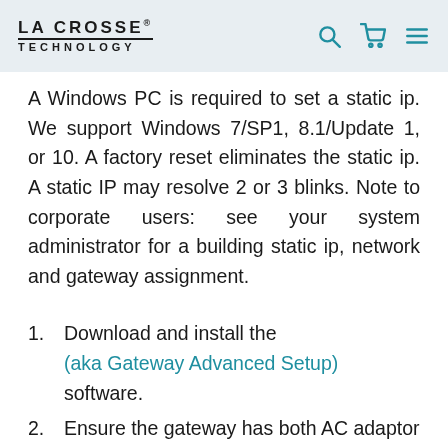LA CROSSE TECHNOLOGY
A Windows PC is required to set a static ip. We support Windows 7/SP1, 8.1/Update 1, or 10. A factory reset eliminates the static ip. A static IP may resolve 2 or 3 blinks. Note to corporate users: see your system administrator for a building static ip, network and gateway assignment.
1. Download and install the (aka Gateway Advanced Setup) software.
2. Ensure the gateway has both AC adaptor and LAN network cable are plugged in